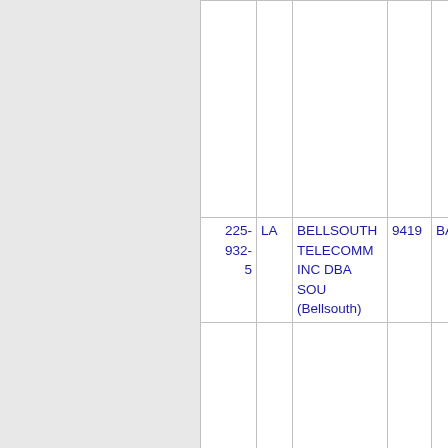| Phone | State | Carrier | ZIP | City |
| --- | --- | --- | --- | --- |
|  |  |  |  |  |
| 225-932-5 | LA | BELLSOUTH TELECOMM INC DBA SOU (Bellsouth) | 9419 | BATONR... |